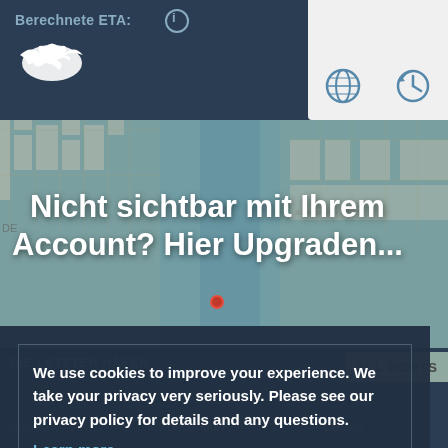Berechnete ETA
[Figure (screenshot): Map background showing city street grid with water/river area in blue-grey tones]
Nicht sichtbar mit Ihrem Account? Hier Upgraden...
We use cookies to improve your experience. We take your privacy very seriously. Please see our privacy policy for details and any questions.
Learn more
Opt-out
Allow cookies
DIE LETZTEN HÄFEN
ALL PORTS
Arrival
Departure
Duration